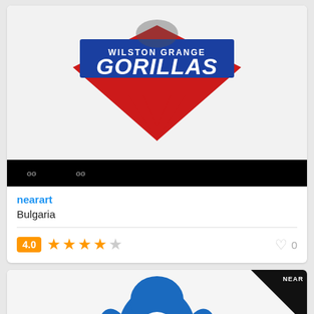[Figure (logo): Wilston Grange Gorillas logo - blue and red team logo with gorilla and diamond chevron shape, top portion of first card]
[Figure (logo): Black strip with two small Gorillas logo thumbnails in grayscale]
nearart
Bulgaria
[Figure (other): Star rating: 4.0 out of 5, shown with orange badge '4.0' and 4 filled stars plus 1 empty star, with heart icon and 0 likes]
[Figure (logo): Wilston Grange Gorillas logo - blue gorilla mascot flexing with red chevron and text 'Wilston Grange Gorillas', second card partial view]